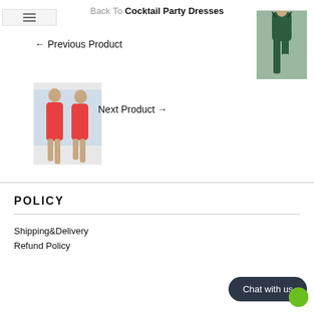Back To Cocktail Party Dresses
[Figure (photo): Photo of a model wearing a dark green spaghetti-strap midi dress with a slit]
← Previous Product
[Figure (photo): Photo of two models wearing red sleeveless cutout midi dresses]
Next Product →
POLICY
Shipping&Delivery
Refund Policy
Chat with us